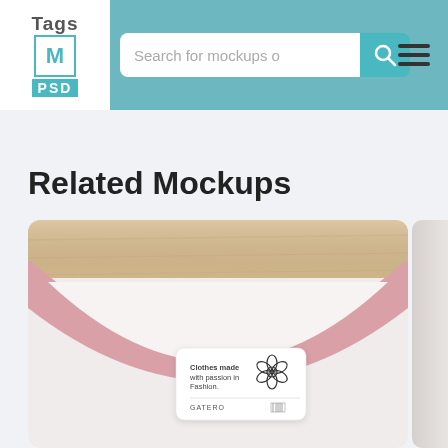[Figure (screenshot): Website header with TagsMockupPSD logo, search bar with placeholder text 'Search for mockups o', teal search button with magnifier icon, and hamburger menu icon]
Related Mockups
[Figure (photo): Close-up photo of a white t-shirt neck area with pink collar trim, placed on a wooden surface. A rectangular clothing label reads 'Clothes made with passion in Fashion.' with a flower icon and brand info.]